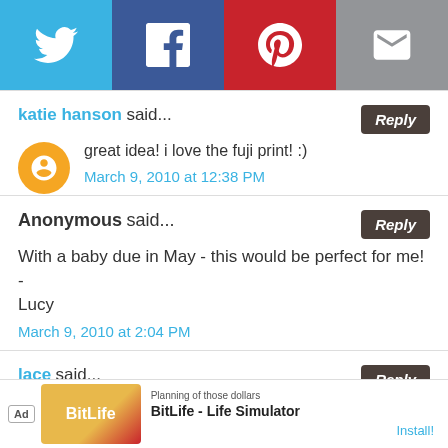[Figure (infographic): Social sharing bar with Twitter (blue), Facebook (dark blue), Pinterest (red), and Email (gray) buttons]
katie hanson said...
great idea! i love the fuji print! :)
March 9, 2010 at 12:38 PM
Anonymous said...
With a baby due in May - this would be perfect for me! - Lucy
March 9, 2010 at 2:04 PM
lace said...
My favorite fabric is the fresh fusion.
[Figure (screenshot): Ad banner: BitLife - Life Simulator with Install button]